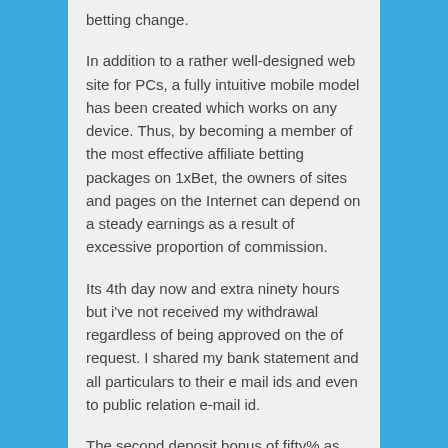betting change.
In addition to a rather well-designed web site for PCs, a fully intuitive mobile model has been created which works on any device. Thus, by becoming a member of the most effective affiliate betting packages on 1xBet, the owners of sites and pages on the Internet can depend on a steady earnings as a result of excessive proportion of commission.
Its 4th day now and extra ninety hours but i've not received my withdrawal regardless of being approved on the of request. I shared my bank statement and all particulars to their e mail ids and even to public relation e-mail id.
The second deposit bonus of fifty% as much as €350 plus 35FS requires a